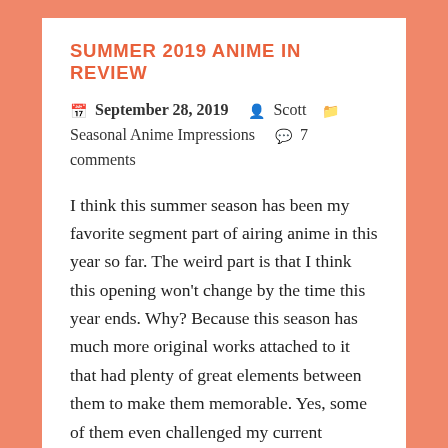SUMMER 2019 ANIME IN REVIEW
📅 September 28, 2019   👤 Scott   📁 Seasonal Anime Impressions   💬 7 comments
I think this summer season has been my favorite segment part of airing anime in this year so far. The weird part is that I think this opening won't change by the time this year ends. Why? Because this season has much more original works attached to it that had plenty of great elements between them to make them memorable. Yes, some of them even challenged my current favorite from this year by the name of Dororo for my own